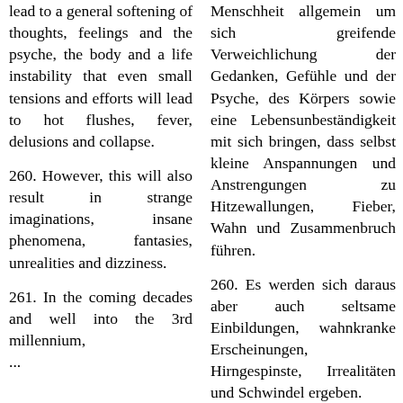lead to a general softening of thoughts, feelings and the psyche, the body and a life instability that even small tensions and efforts will lead to hot flushes, fever, delusions and collapse.
260. However, this will also result in strange imaginations, insane phenomena, fantasies, unrealities and dizziness.
261. In the coming decades and well into the 3rd millennium, ...
Menschheit allgemein um sich greifende Verweichlichung der Gedanken, Gefühle und der Psyche, des Körpers sowie eine Lebensunbeständigkeit mit sich bringen, dass selbst kleine Anspannungen und Anstrengungen zu Hitzewallungen, Fieber, Wahn und Zusammenbruch führen.
260. Es werden sich daraus aber auch seltsame Einbildungen, wahnkranke Erscheinungen, Hirngespinste, Irrealitäten und Schwindel ergeben.
261. In den kommenden Jahrzehnten und bis weit ins 3. Jahrtausend hinein werden ...